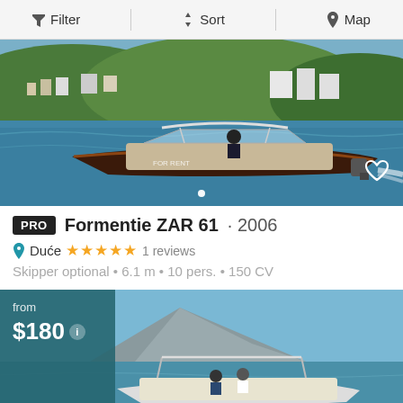Filter | Sort | Map
[Figure (photo): Speedboat on the sea with a hillside town in the background, driver visible, wake behind the boat]
PRO  Formentie ZAR 61 · 2006
Duće ★★★★★ 1 reviews
Skipper optional • 6.1 m • 10 pers. • 150 CV
[Figure (photo): Second boat listing photo: boat with canopy on calm water with rocky mountains in background, from $180 price overlay]